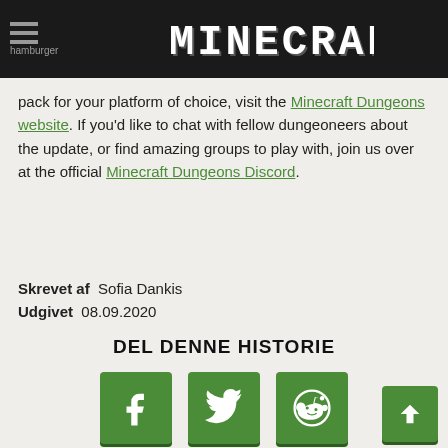hamburger  MINECRAFT
pack for your platform of choice, visit the Minecraft Dungeons website. If you'd like to chat with fellow dungeoneers about the update, or find amazing groups to play with, join us over at the official Minecraft Dungeons Discord.
Skrevet af  Sofia Dankis
Udgivet  08.09.2020
DEL DENNE HISTORIE
[Figure (infographic): Three green social media share buttons: Facebook (f), Twitter (bird), Reddit (alien face), and a green scroll-to-top arrow button in the bottom right.]